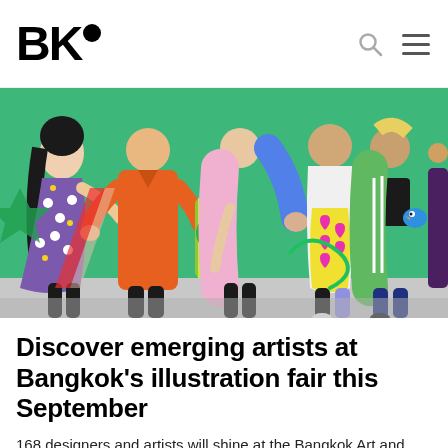BK•
[Figure (illustration): Colorful illustration of diverse people walking together in stylish outfits including a purple floral dress, orange coat, pink outfit, yellow heart-patterned dress, and green striped outfit on a green background]
Discover emerging artists at Bangkok's illustration fair this September
168 designers and artists will shine at the Bangkok Art and Culture Center.